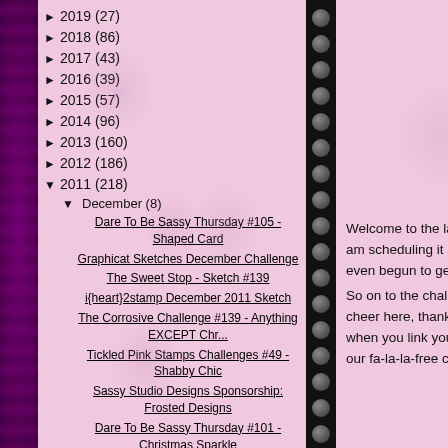► 2019 (27)
► 2018 (86)
► 2017 (43)
► 2016 (39)
► 2015 (57)
► 2014 (96)
► 2013 (160)
► 2012 (186)
▼ 2011 (218)
▼ December (8)
Dare To Be Sassy Thursday #105 - Shaped Card
Graphicat Sketches December Challenge
The Sweet Stop - Sketch #139
i{heart}2stamp December 2011 Sketch
The Corrosive Challenge #139 - Anything EXCEPT Chr...
Tickled Pink Stamps Challenges #49 - Shabby Chic
Sassy Studio Designs Sponsorship: Frosted Designs
Dare To Be Sassy Thursday #101 - Christmas Sparkle
Welcome to the last Corrosi the Sunday after my compa I am scheduling it ahead of come tomorrow morning! lol even begun to get ready for best get moving!
So on to the challenge.... W holiday stuff. We want to se cheer here, thank you! We'r 2012. If you are interested a when you link your project. contacted via e-mail after th our fa-la-la-free challenge!